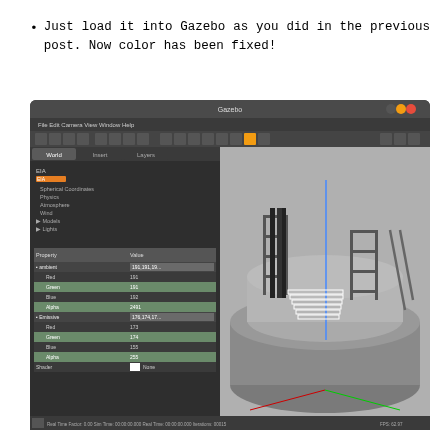Just load it into Gazebo as you did in the previous post. Now color has been fixed!
[Figure (screenshot): Gazebo simulator window showing a 3D model of an industrial structure with metal frames, stairs, and piping inside a large cylindrical concrete basin. The left panel shows a world/model tree and property inspector with color values. The title bar reads 'Gazebo'.]